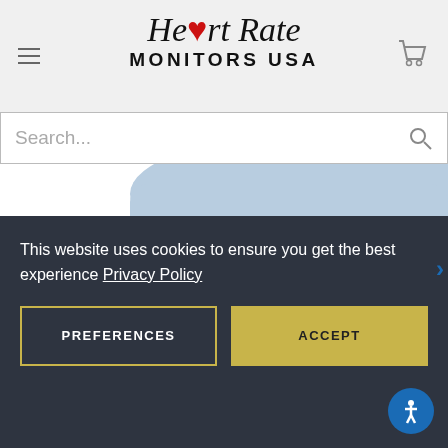[Figure (logo): Heart Rate Monitors USA logo with red heart icon in italic serif font]
Search...
[Figure (photo): LifeSource blood pressure monitor showing reading of 120 SYS mmHg with blue arm cuff]
This website uses cookies to ensure you get the best experience Privacy Policy
PREFERENCES
ACCEPT